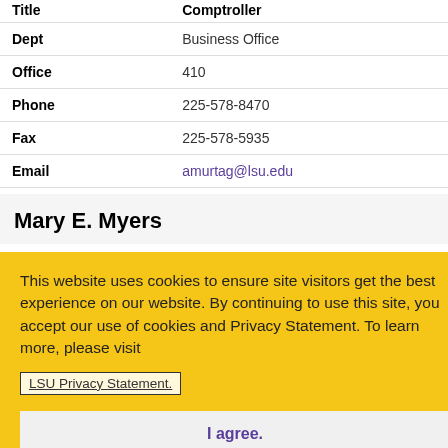| Field | Value |
| --- | --- |
| Title | Comptroller |
| Dept | Business Office |
| Office | 410 |
| Phone | 225-578-8470 |
| Fax | 225-578-5935 |
| Email | amurtag@lsu.edu |
Mary E. Myers
This website uses cookies to ensure site visitors get the best experience on our website. By continuing to use this site, you accept our use of cookies and Privacy Statement. To learn more, please visit LSU Privacy Statement.
I agree.
[Figure (photo): Partial photo of a person with light-colored hair, black and white, partially obscured by cookie banner]